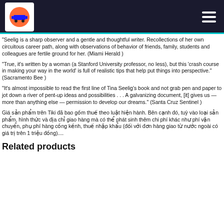Tiki logo and navigation menu
“Seelig is a sharp observer and a gentle and thoughtful writer. Recollections of her own circuitous career path, along with observations of behavior of friends, family, students and colleagues are fertile ground for her. (Miami Herald )
“True, it’s written by a woman (a Stanford University professor, no less), but this ‘crash course in making your way in the world’ is full of realistic tips that help put things into perspective.” (Sacramento Bee )
“It’s almost impossible to read the first line of Tina Seelig’s book and not grab pen and paper to jot down a river of pent-up ideas and possibilities . . . A galvanizing document, [it] gives us — more than anything else — permission to develop our dreams.” (Santa Cruz Sentinel )
Giá sản phẩm trên Tiki đã bao gồm thuế theo luật hiện hành. Bên cạnh đó, tuỳ vào loại sản phẩm, hình thức và địa chỉ giao hàng mà có thể phát sinh thêm chi phí khác như phí vận chuyển, phụ phí hàng cồng kềnh, thuế nhập khẩu (đối với đơn hàng giao từ nước ngoài có giá trị trên 1 triệu đồng)....
Related products